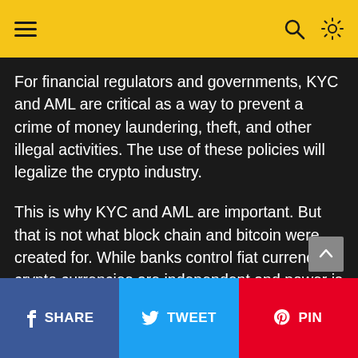≡  🔍  ☀
For financial regulators and governments, KYC and AML are critical as a way to prevent a crime of money laundering, theft, and other illegal activities. The use of these policies will legalize the crypto industry.
This is why KYC and AML are important. But that is not what block chain and bitcoin were created for. While banks control fiat currencies, crypto currencies are independent and power is in the hands of mere mortals.
In any case, verification has a number of positive aspects (at first sight):
SHARE   TWEET   PIN